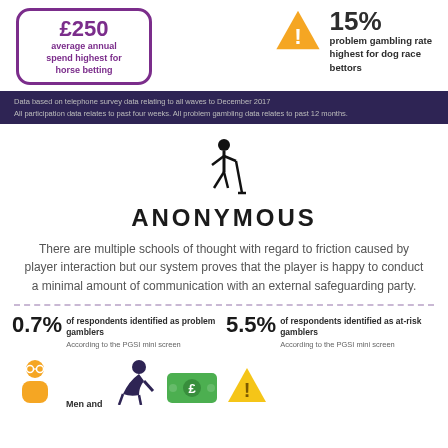[Figure (infographic): Purple rounded rectangle with £250 average annual spend highest for horse betting]
[Figure (infographic): Warning triangle icon (orange) with 15% problem gambling rate highest for dog race bettors]
Data based on telephone survey data relating to all waves to December 2017. All participation data relates to past four weeks. All problem gambling data relates to past 12 months.
[Figure (illustration): Black silhouette of a person walking with a cane]
ANONYMOUS
There are multiple schools of thought with regard to friction caused by player interaction but our system proves that the player is happy to conduct a minimal amount of communication with an external safeguarding party.
0.7% of respondents identified as problem gamblers According to the PGSI mini screen
5.5% of respondents identified as at-risk gamblers According to the PGSI mini screen
[Figure (illustration): Person with glasses icon (orange/yellow)]
Men and
[Figure (illustration): Person hunched over icon (dark blue/purple)]
[Figure (illustration): Green banknote/money icon]
[Figure (illustration): Warning triangle icon (yellow)]